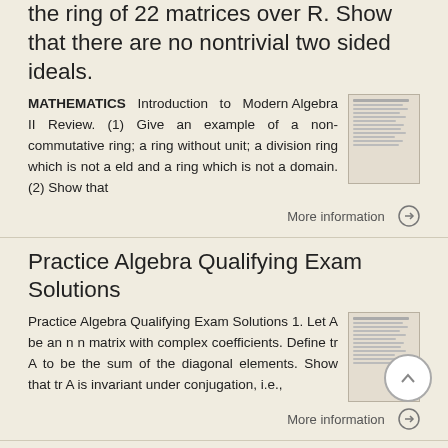the ring of 22 matrices over R. Show that there are no nontrivial two sided ideals.
MATHEMATICS Introduction to Modern Algebra II Review. (1) Give an example of a non-commutative ring; a ring without unit; a division ring which is not a eld and a ring which is not a domain. (2) Show that
More information →
Practice Algebra Qualifying Exam Solutions
Practice Algebra Qualifying Exam Solutions 1. Let A be an n n matrix with complex coefficients. Define tr A to be the sum of the diagonal elements. Show that tr A is invariant under conjugation, i.e.,
More information →
Qualifying Exams | 2014 Spring